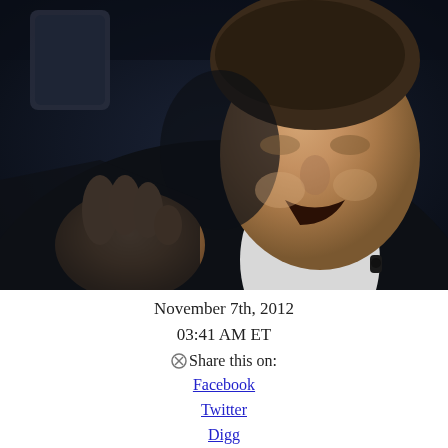[Figure (photo): Photo of a man in a dark blazer with white shirt, laughing or speaking, with a microphone lapel clip, against a dark background. He appears to be gesturing with his right hand.]
November 7th, 2012
03:41 AM ET
Share this on:
Facebook
Twitter
Digg
del.icio.us
reddit
MySpace
StumbleUpon